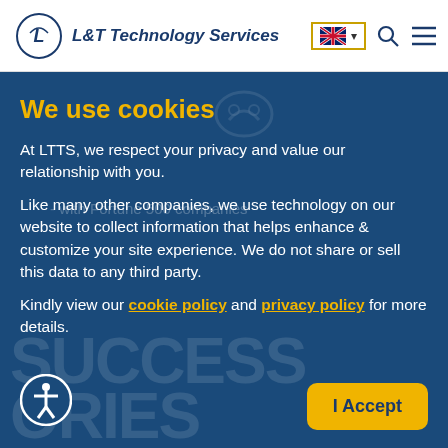L&T Technology Services
We use cookies
At LTTS, we respect your privacy and value our relationship with you.
Like many other companies, we use technology on our website to collect information that helps enhance & customize your site experience. We do not share or sell this data to any third party.
Kindly view our cookie policy and privacy policy for more details.